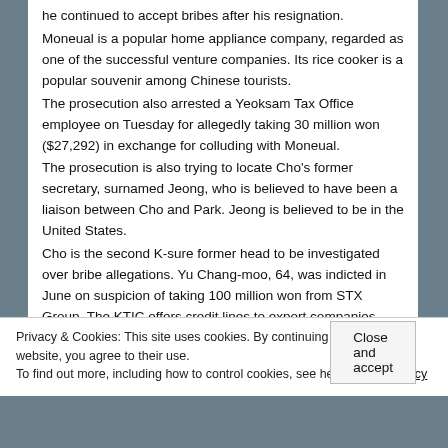he continued to accept bribes after his resignation. Moneual is a popular home appliance company, regarded as one of the successful venture companies. Its rice cooker is a popular souvenir among Chinese tourists. The prosecution also arrested a Yeoksam Tax Office employee on Tuesday for allegedly taking 30 million won ($27,292) in exchange for colluding with Moneual. The prosecution is also trying to locate Cho's former secretary, surnamed Jeong, who is believed to have been a liaison between Cho and Park. Jeong is believed to be in the United States. Cho is the second K-sure former head to be investigated over bribe allegations. Yu Chang-moo, 64, was indicted in June on suspicion of taking 100 million won from STX Group. The KTIC offers credit lines to export companies. Fraudulent sales reports were uncovered in a tax audit
Privacy & Cookies: This site uses cookies. By continuing to use this website, you agree to their use. To find out more, including how to control cookies, see here: Cookie Policy
Close and accept